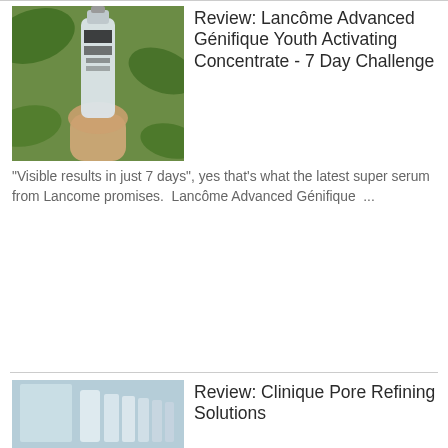[Figure (photo): Hand holding Lancôme Advanced Génifique serum bottle against green foliage background]
Review: Lancôme Advanced Génifique Youth Activating Concentrate - 7 Day Challenge
"Visible results in just 7 days", yes that's what the latest super serum from Lancome promises.  Lancôme Advanced Génifique ...
[Figure (photo): Clinique Pore Refining Solutions products displayed on a shelf]
Review: Clinique Pore Refining Solutions
I've had visible medium-sized pores for as long as I can remember. I've actually given up hope on ever having a smooth comple...
[Figure (photo): Bobbi Brown Long-Wear Cream Shadow Stick pencils in Truffle and Nude Beach shades on a light surface]
Bobbi Brown Long-Wear Cream Shadow Stick - Truffle & Nude Beach
Bobbi Brown Long-Wear Cream Shadow Stick comes in four new shades for Summer 2016 which compliments the Beach Nudes Collection